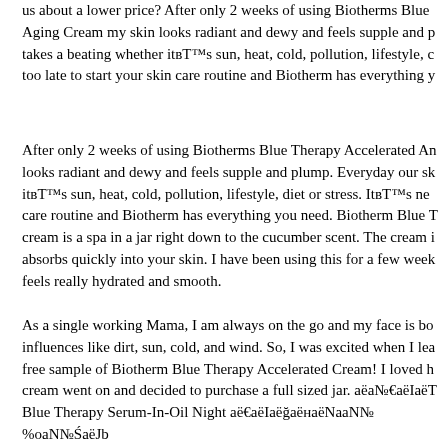us about a lower price? After only 2 weeks of using Biotherms Blue Aging Cream my skin looks radiant and dewy and feels supple and p takes a beating whether itвЂ™s sun, heat, cold, pollution, lifestyle, c too late to start your skin care routine and Biotherm has everything y
After only 2 weeks of using Biotherms Blue Therapy Accelerated An looks radiant and dewy and feels supple and plump. Everyday our sk itвЂ™s sun, heat, cold, pollution, lifestyle, diet or stress. ItвЂ™s ne care routine and Biotherm has everything you need. Biotherm Blue T cream is a spa in a jar right down to the cucumber scent. The cream i absorbs quickly into your skin. I have been using this for a few week feels really hydrated and smooth.
As a single working Mama, I am always on the go and my face is bo influences like dirt, sun, cold, and wind. So, I was excited when I lea free sample of Biotherm Blue Therapy Accelerated Cream! I loved h cream went on and decided to purchase a full sized jar. аëа№€аëIаëТ Blue Therapy Serum-In-Oil Night аë€аëIаëҐаëнаëNаaN№%ааN№ŕаëJь аë±аN№€аë§аë›аëJаë°аN№ТаëаëÉ REVIEW BY paikaow01 :: аN№ŕ